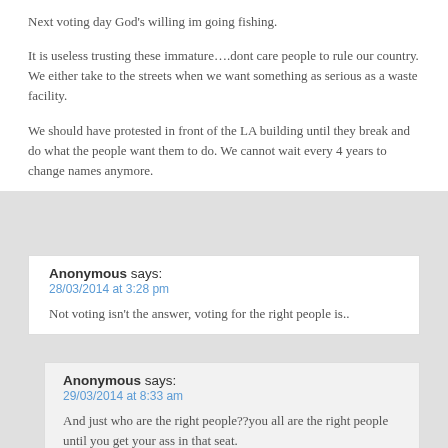Next voting day God's willing im going fishing.
It is useless trusting these immature….dont care people to rule our country. We either take to the streets when we want something as serious as a waste facility.
We should have protested in front of the LA building until they break and do what the people want them to do. We cannot wait every 4 years to change names anymore.
Anonymous says:
28/03/2014 at 3:28 pm

Not voting isn't the answer, voting for the right people is..
Anonymous says:
29/03/2014 at 8:33 am

And just who are the right people??you all are the right people until you get your ass in that seat.

I have a friend that is so upset that the people wouldnt choose him far their leader. He is so self